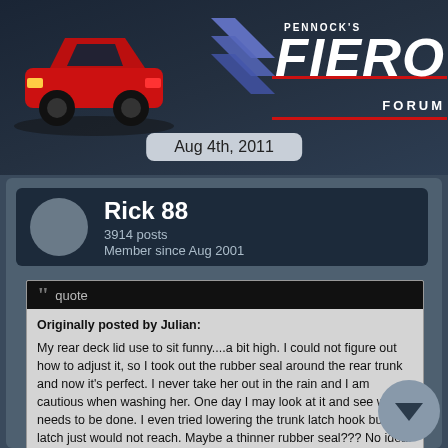[Figure (illustration): Pennock's Fiero Forum header with red Fiero car on left and logo with blue chevron shapes and red accent lines on right]
Aug 4th, 2011
Rick 88
3914 posts
Member since Aug 2001
quote
Originally posted by Julian:
My rear deck lid use to sit funny....a bit high. I could not figure out how to adjust it, so I took out the rubber seal around the rear trunk and now it's perfect. I never take her out in the rain and I am cautious when washing her. One day I may look at it and see what needs to be done. I even tried lowering the trunk latch hook but the latch just would not reach. Maybe a thinner rubber seal??? No idea. Any pointers?
I adjusted the deck lid and it fits better but is still slightly high. Julian must have the same problem. The plastic side "square offs" for the trunk opening have a convex curve on the side where the decklid weatherstrip attatches. Perhaps mine are evenly warped. If they were straight across my lid would sit perfectly. Can anyone